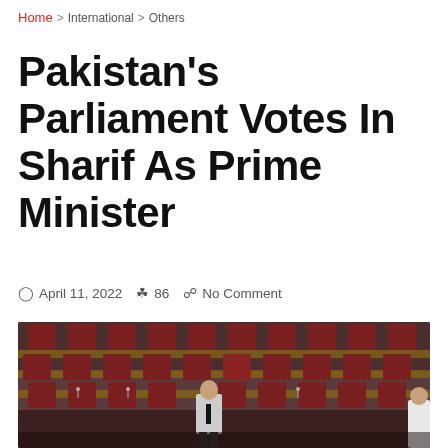Home > International > Others
Pakistan's Parliament Votes In Sharif As Prime Minister
April 11, 2022   86   No Comment
[Figure (photo): Interior of Pakistan's parliament chamber with rows of dark red leather chairs and wooden desks; a man in a light grey suit and dark tie stands in the foreground center.]